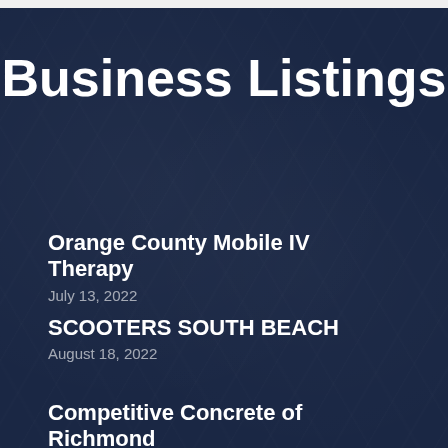Business Listings
Orange County Mobile IV Therapy
July 13, 2022
SCOOTERS SOUTH BEACH
August 18, 2022
Competitive Concrete of Richmond
June 27, 2022
Fraction Signworks (partial)